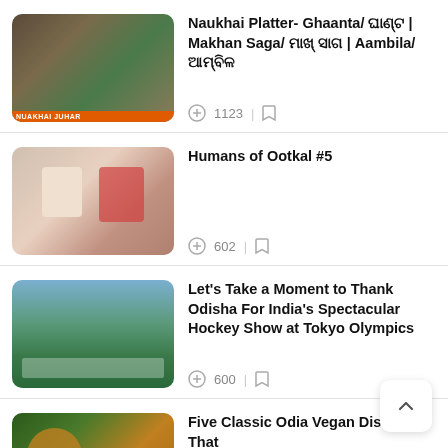Naukhai Platter- Ghaanta/ ଘାଣ୍ଟ | Makhan Saga/ ମାଖ୍ ସାଗ | Aambila/ ଆମ୍ବିଳ — 1123 views
Humans of Ootkal #5 — 602 views
Let's Take a Moment to Thank Odisha For India's Spectacular Hockey Show at Tokyo Olympics — 600 views
Five Classic Odia Vegan Dishes That Will Boost Your Health — 1726 views